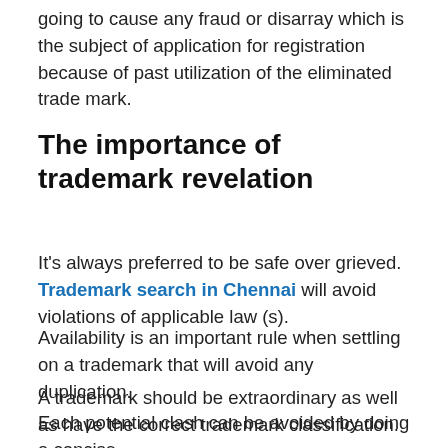going to cause any fraud or disarray which is the subject of application for registration because of past utilization of the eliminated trade mark.
The importance of trademark revelation
It's always preferred to be safe over grieved. Trademark search in Chennai will avoid violations of applicable law (s).
Availability is an important rule when settling on a trademark that will avoid any duplication.
A trademark should be extraordinary as well as have the correct trademark classification.
Each potential clash can be avoided by doing a concise